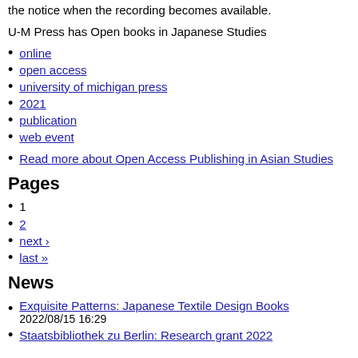the notice when the recording becomes available.
U-M Press has Open books in Japanese Studies
online
open access
university of michigan press
2021
publication
web event
Read more about Open Access Publishing in Asian Studies
Pages
1
2
next ›
last »
News
Exquisite Patterns: Japanese Textile Design Books
2022/08/15 16:29
Staatsbibliothek zu Berlin: Research grant 2022